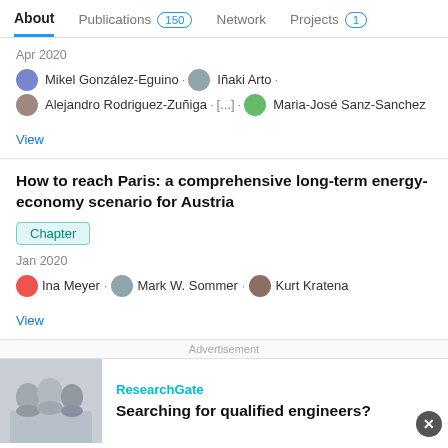About  Publications 150  Network  Projects 1
Apr 2020
Mikel González-Eguino · Iñaki Arto · Alejandro Rodriguez-Zuñiga · [...] · Maria-José Sanz-Sanchez
View
How to reach Paris: a comprehensive long-term energy-economy scenario for Austria
Chapter
Jan 2020
Ina Meyer · Mark W. Sommer · Kurt Kratena
View
Advertisement
ResearchGate
Searching for qualified engineers?